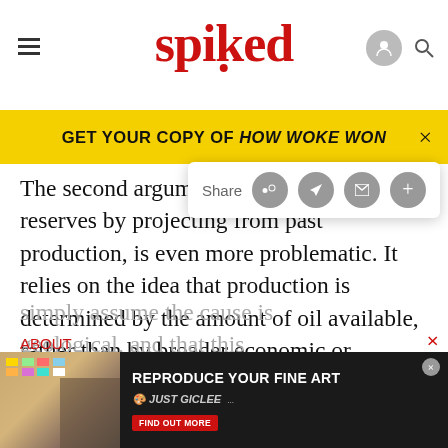spiked
GET YOUR COPY OF HOW WOKE WON
The second argument, that we can estimate reserves by projecting from past production, is even more problematic. It relies on the idea that production is determined by the amount of oil available, rather than by broader economic or political considerations. It is true that oil production in the USA (outside Alaska) peaked in the early 1970s, and that growth in global oil production is now slowing. But the pessimists simply assume the cause is geological, and that this
ABOUT
[Figure (screenshot): Advertisement: REPRODUCE YOUR FINE ART - JUST GICLEE - FIND OUT MORE]